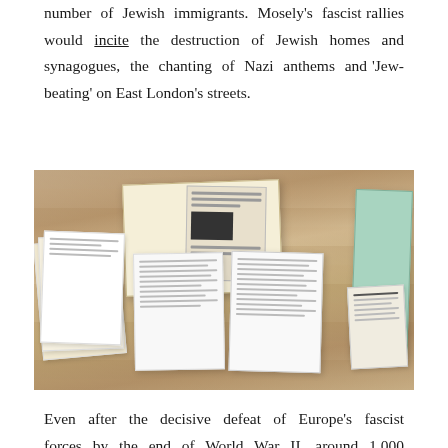number of Jewish immigrants. Mosely's fascist rallies would incite the destruction of Jewish homes and synagogues, the chanting of Nazi anthems and 'Jew-beating' on East London's streets.
[Figure (photo): Photo of various documents, newspapers, letters and papers spread on a wooden table, including an open book with a newspaper clipping, a stack of papers on the left, two central document sheets, a green folder on the right, and a small newspaper clipping.]
Even after the decisive defeat of Europe's fascist forces by the end of World War II, around 1,000 loyal fans gathered to greet Mosely in his first re-appearance after the war in 1946. "They screamed